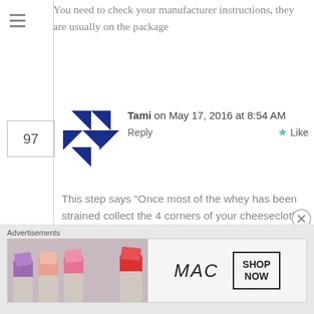You need to check your manufacturer instructions, they are usually on the package
Tami on May 17, 2016 at 8:54 AM
Reply  Like
This step says “Once most of the whey has been strained collect the 4 corners of your cheesecloth and tie them to form a knot that allows you to suspend the cheesecloth then allow it to strain for 2-4 hours.” The next step says “the next day”. So do you drain it 2-4 hours or 24 hours? Which is correct? Thank you.
[Figure (logo): MAC Cosmetics advertisement with lipsticks and MAC italic logo with SHOP NOW button]